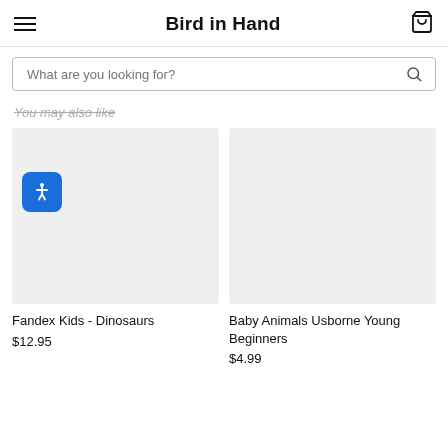Bird in Hand
What are you looking for?
You may also like
[Figure (photo): Product image placeholder for Fandex Kids - Dinosaurs with accessibility icon overlay]
Fandex Kids - Dinosaurs
$12.95
[Figure (photo): Product image placeholder for Baby Animals Usborne Young Beginners]
Baby Animals Usborne Young Beginners
$4.99